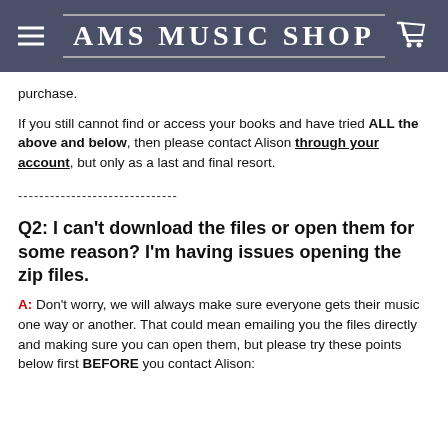AMS MUSIC SHOP
purchase.
If you still cannot find or access your books and have tried ALL the above and below, then please contact Alison through your account, but only as a last and final resort.
------------------------------
Q2: I can't download the files or open them for some reason? I'm having issues opening the zip files.
A: Don't worry, we will always make sure everyone gets their music one way or another. That could mean emailing you the files directly and making sure you can open them, but please try these points below first BEFORE you contact Alison: